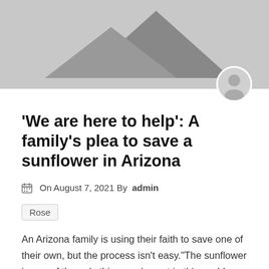[Figure (photo): Gray placeholder image with mountain silhouette shapes at top, with a circular avatar icon in the bottom-right corner]
'We are here to help': A family's plea to save a sunflower in Arizona
On August 7, 2021 By admin
Rose
An Arizona family is using their faith to save one of their own, but the process isn't easy.“The sunflower is one of the only things we've got in this world